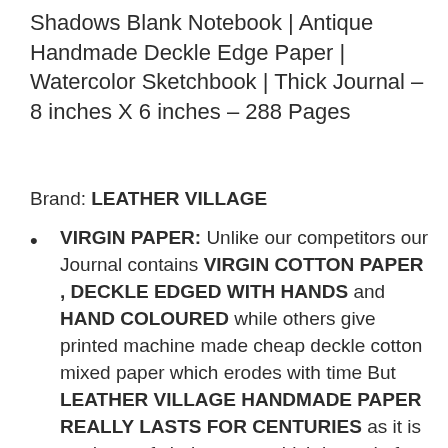Shadows Blank Notebook | Antique Handmade Deckle Edge Paper | Watercolor Sketchbook | Thick Journal – 8 inches X 6 inches – 288 Pages
Brand: LEATHER VILLAGE
VIRGIN PAPER: Unlike our competitors our Journal contains VIRGIN COTTON PAPER , DECKLE EDGED WITH HANDS and HAND COLOURED while others give printed machine made cheap deckle cotton mixed paper which erodes with time But LEATHER VILLAGE HANDMADE PAPER REALLY LASTS FOR CENTURIES as it is made up of virgin cotton which is made for long